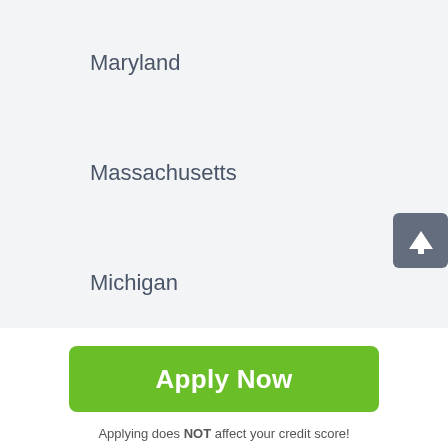Maryland
Massachusetts
Michigan
Minnesota
Mississippi
Missouri
Apply Now
Applying does NOT affect your credit score! No credit check to apply.